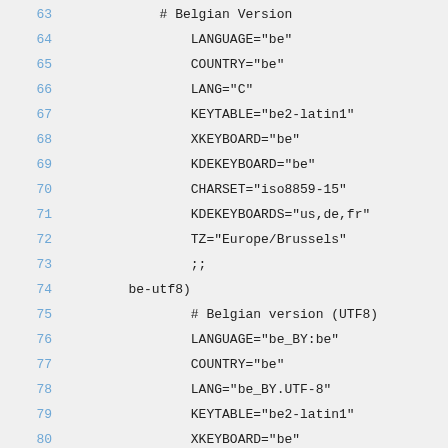Code listing lines 63–89: shell/configuration script snippet showing Belgian and Bulgarian locale settings
63    # Belgian Version
64        LANGUAGE="be"
65        COUNTRY="be"
66        LANG="C"
67        KEYTABLE="be2-latin1"
68        XKEYBOARD="be"
69        KDEKEYBOARD="be"
70        CHARSET="iso8859-15"
71        KDEKEYBOARDS="us,de,fr"
72        TZ="Europe/Brussels"
73        ;;
74    be-utf8)
75        # Belgian version (UTF8)
76        LANGUAGE="be_BY:be"
77        COUNTRY="be"
78        LANG="be_BY.UTF-8"
79        KEYTABLE="be2-latin1"
80        XKEYBOARD="be"
81        KDEKEYBOARD="be"
82        CHARSET="utf8"
83        # Additional KDE Keyboards
84        KDEKEYBOARDS="us,de,fr"
85        TZ="Europe/Brussels"
86        ;;
87    bg)
88        # Bulgarian version
89        LANGUAGE="bg"